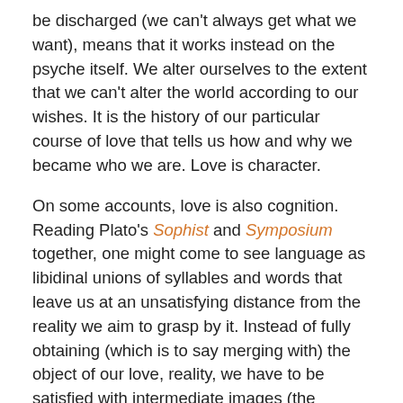be discharged (we can't always get what we want), means that it works instead on the psyche itself. We alter ourselves to the extent that we can't alter the world according to our wishes.  It is the history of our particular course of love that tells us how and why we became who we are. Love is character.
On some accounts, love is also cognition. Reading Plato's Sophist and Symposium together, one might come to see language as libidinal unions of syllables and words that leave us at an unsatisfying distance from the reality we aim to grasp by it.  Instead of fully obtaining (which is to say merging with) the object of our love, reality, we have to be satisfied with intermediate images (the offspring of linguistic copulations): adding Kant into the mix, language and concepts get us not "things in themselves" but mere "appearances." These appearances are substitutes for reality in the same way that that in Freud a more palatable wish may become a metaphor for